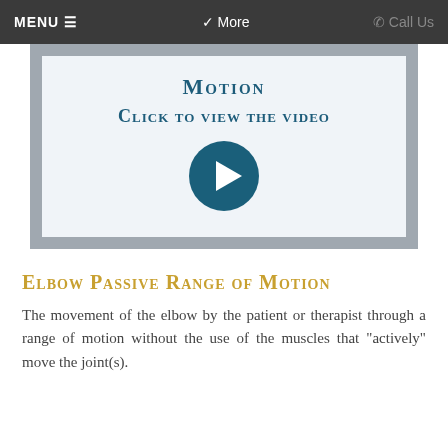MENU ≡   ❯ More   ☎ Call Us
[Figure (screenshot): Video thumbnail showing 'Motion - Click to view the video' with a circular dark teal play button icon on a light blue-gray background, framed by a gray border.]
Elbow Passive Range of Motion
The movement of the elbow by the patient or therapist through a range of motion without the use of the muscles that "actively" move the joint(s).